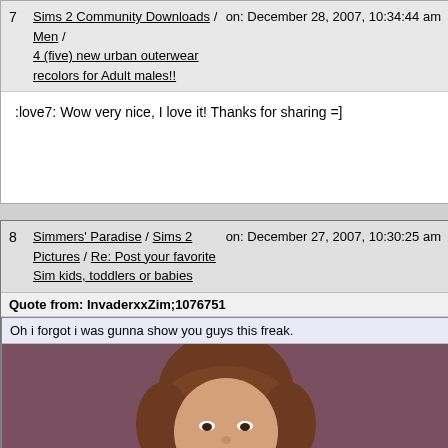7 | Sims 2 Community Downloads / Men / 4 (five) new urban outerwear recolors for Adult males!! | on: December 28, 2007, 10:34:44 am
:love7: Wow very nice, I love it! Thanks for sharing =]
8 | Simmers' Paradise / Sims 2 Pictures / Re: Post your favorite Sim kids, toddlers or babies | on: December 27, 2007, 10:30:25 am
Quote from: InvaderxxZim;1076751
Oh i forgot i was gunna show you guys this freak.
[Figure (photo): Screenshot of a Sims 2 character (child/toddler) with a brown bob haircut against a mauve/purple background, with a Photobucket watermark.]